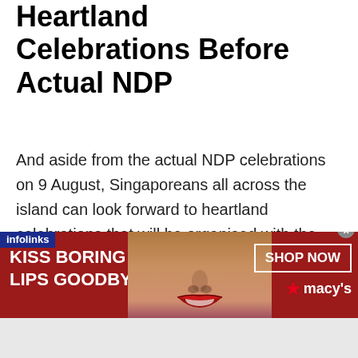Heartland Celebrations Before Actual NDP
And aside from the actual NDP celebrations on 9 August, Singaporeans all across the island can look forward to heartland celebrations that will be organised with the People's Association on 6 and 7 August this year.
The celebrations will take place at five different locations, and more details regarding the celebrations will be available in due time.
[Figure (other): infolinks advertisement banner for Macy's makeup — 'KISS BORING LIPS GOODBYE' with SHOP NOW button and Macy's logo, featuring a woman's face with red lips]